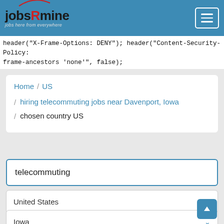[Figure (screenshot): jobsRmine website header with logo and hamburger menu on blue background]
header("X-Frame-Options: DENY"); header("Content-Security-Policy: frame-ancestors 'none'", false);
Home / US / hiring telecommuting jobs near Davenport, Iowa / chosen country US
telecommuting
United States
Iowa